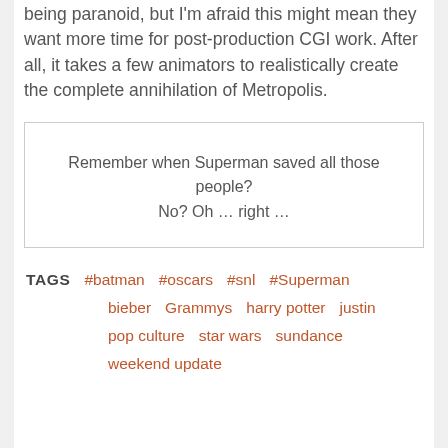being paranoid, but I'm afraid this might mean they want more time for post-production CGI work. After all, it takes a few animators to realistically create the complete annihilation of Metropolis.
Remember when Superman saved all those people? No? Oh … right …
TAGS #batman #oscars #snl #Superman bieber Grammys harry potter justin pop culture star wars sundance weekend update